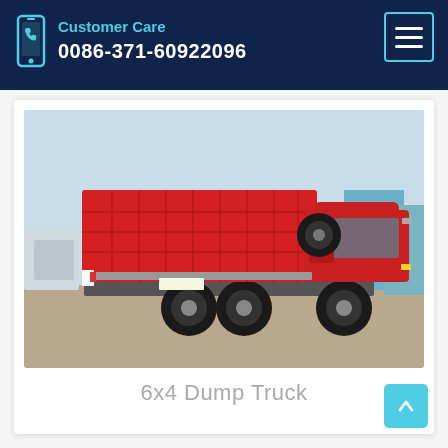Customer Care 0086-371-60922096
[Figure (photo): Red 6x4 dump truck (heavy-duty tipper) parked in a vehicle yard, side profile view, with a large red tipper body and multiple axles. Background shows other trucks and industrial buildings under a light blue sky.]
6x4 Dump Truck